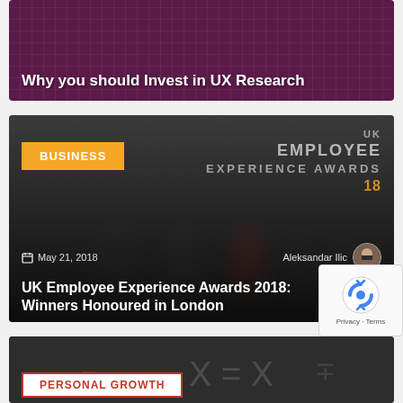[Figure (photo): Dark purple/maroon banner with keyboard/tech imagery and white bold title text 'Why you should Invest in UX Research']
Why you should Invest in UX Research
[Figure (photo): Dark photo of group of people at UK Employee Experience Awards 2018 ceremony, with a yellow 'BUSINESS' badge overlay, date 'May 21, 2018', author 'Aleksandar Ilic', and title 'UK Employee Experience Awards 2018: Winners Honoured in London']
BUSINESS
May 21, 2018
Aleksandar Ilic
UK Employee Experience Awards 2018: Winners Honoured in London
[Figure (photo): Dark banner partially visible at bottom with 'PERSONAL GROWTH' badge in red border on white background]
PERSONAL GROWTH